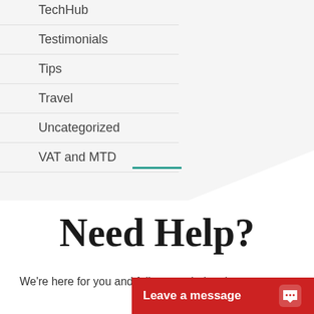TechHub
Testimonials
Tips
Travel
Uncategorized
VAT and MTD
Need Help?
We're here for you and fully open during the current
Leave a message